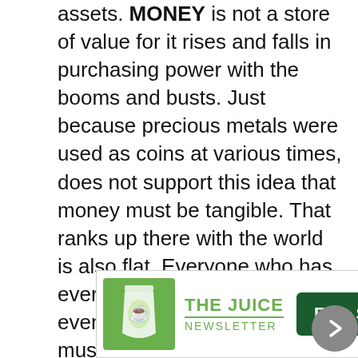assets. MONEY is not a store of value for it rises and falls in purchasing power with the booms and busts. Just because precious metals were used as coins at various times, does not support this idea that money must be tangible. That ranks up there with the world is also flat. Everyone who has ever eaten broccoli has eventually died. Therefore, we must also assume that broccoli will kill you. There have been hundreds of yearly intervals where money was NEVER precious metals and what about Asia where China never issued precious metal coins.They proved money is simply what everyone agrees to u
[Figure (other): Advertisement banner for 'The Juice Newsletter' with green icon of a juice cup, green text reading 'THE JUICE NEWSLETTER', and a dark green button reading 'Free Sign Up'. There is a close (x) button in the top right corner.]